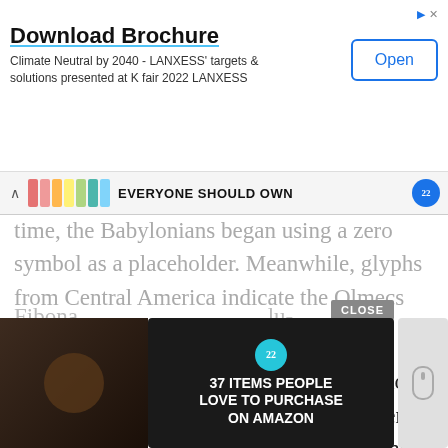[Figure (screenshot): Advertisement banner: 'Download Brochure' with subtitle 'Climate Neutral by 2040 - LANXESS targets & solutions presented at K fair 2022 LANXESS' and an 'Open' button]
[Figure (screenshot): Secondary ad strip showing colored product bars and text 'EVERYONE SHOULD OWN' with a circular badge]
time, the Babylonians began using a zero symbol as a placeholder. Meanwhile, glyphs from Central America indicate the Olmecs had a zero.
The concept of zero predated its description by many centuries. The Indian astronomer and mathematician Brahmagupta wrote the rules for the mathematics of the number zero in the 7th century (628 AD). The Italian mathemati...
Fibona... lu- Arabic... this, R... which...
[Figure (screenshot): Overlay advertisement '37 ITEMS PEOPLE LOVE TO PURCHASE ON AMAZON' with food/kitchen image background and a close button]